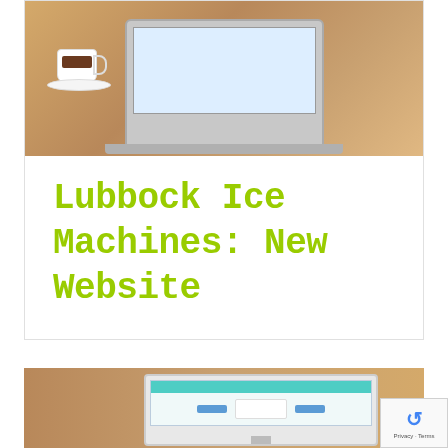[Figure (photo): Laptop computer on a wooden desk with a white coffee cup and saucer to the left]
Lubbock Ice Machines: New Website
[Figure (screenshot): A monitor displaying a website with a teal header bar and navigation elements, placed on a wooden surface]
[Figure (other): Google reCAPTCHA badge with Privacy and Terms links]